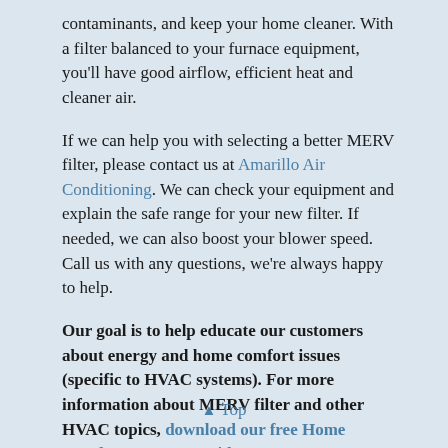contaminants, and keep your home cleaner. With a filter balanced to your furnace equipment, you'll have good airflow, efficient heat and cleaner air.
If we can help you with selecting a better MERV filter, please contact us at Amarillo Air Conditioning. We can check your equipment and explain the safe range for your new filter. If needed, we can also boost your blower speed. Call us with any questions, we're always happy to help.
Our goal is to help educate our customers about energy and home comfort issues (specific to HVAC systems). For more information about MERV filter and other HVAC topics, download our free Home Comfort Resource guide.
Amarillo Air Conditioning services Amarillo, Texas and the surrounding areas. Visit our website to see our special offers and get started today!
Top